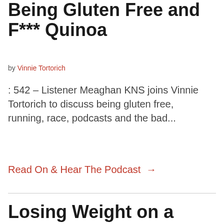Being Gluten Free and F*** Quinoa
by Vinnie Tortorich
: 542 – Listener Meaghan KNS joins Vinnie Tortorich to discuss being gluten free, running, race, podcasts and the bad...
Read On & Hear The Podcast →
Losing Weight on a Low